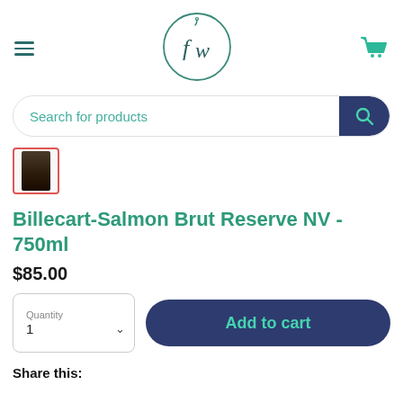fw (logo)
[Figure (logo): Circular logo with 'fw' initials in teal/dark teal color, fishing hook detail]
Search for products
[Figure (photo): Small thumbnail image of Billecart-Salmon Brut Reserve NV 750ml bottle]
Billecart-Salmon Brut Reserve NV - 750ml
$85.00
Quantity 1
Add to cart
Share this: